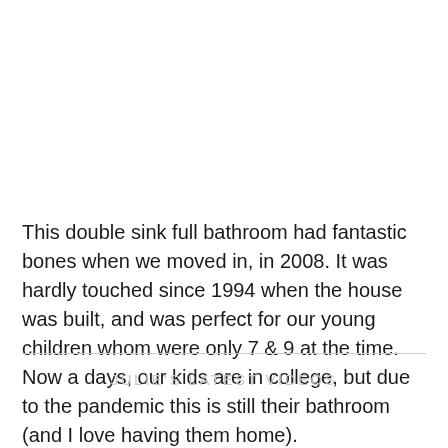This double sink full bathroom had fantastic bones when we moved in, in 2008. It was hardly touched since 1994 when the house was built, and was perfect for our young children whom were only 7 & 9 at the time. Now a days, our kids are in college, but due to the pandemic this is still their bathroom (and I love having them home).
JULIE'S LATEST VIDEOS